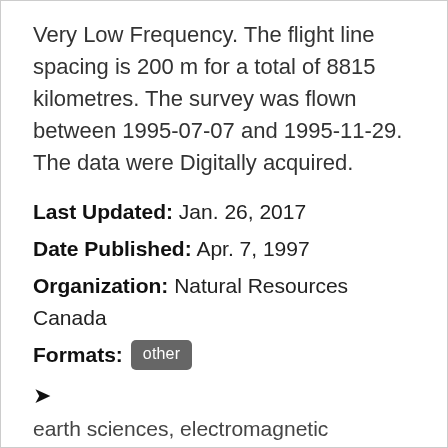Very Low Frequency. The flight line spacing is 200 m for a total of 8815 kilometres. The survey was flown between 1995-07-07 and 1995-11-29. The data were Digitally acquired.
Last Updated: Jan. 26, 2017
Date Published: Apr. 7, 1997
Organization: Natural Resources Canada
Formats: other
earth sciences, electromagnetic anomalies, electromagnetic surveys, electromagnetic surveys, airborne,